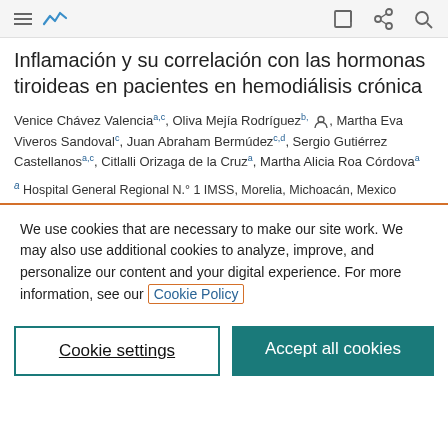[navigation bar with hamburger menu, analytics icon, edit icon, share icon, search icon]
Inflamación y su correlación con las hormonas tiroideas en pacientes en hemodiálisis crónica
Venice Chávez Valencia a,c, Oliva Mejía Rodríguez b, [author icon], Martha Eva Viveros Sandoval c, Juan Abraham Bermúdez c,d, Sergio Gutiérrez Castellanos a,c, Citlalli Orizaga de la Cruz a, Martha Alicia Roa Córdova a
a Hospital General Regional N.° 1 IMSS, Morelia, Michoacán, Mexico
We use cookies that are necessary to make our site work. We may also use additional cookies to analyze, improve, and personalize our content and your digital experience. For more information, see our Cookie Policy
Cookie settings | Accept all cookies